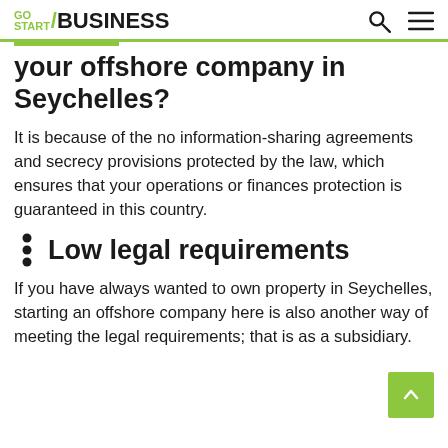GO START/BUSINESS
your offshore company in Seychelles?
It is because of the no information-sharing agreements and secrecy provisions protected by the law, which ensures that your operations or finances protection is guaranteed in this country.
Low legal requirements
If you have always wanted to own property in Seychelles, starting an offshore company here is also another way of meeting the legal requirements; that is as a subsidiary.